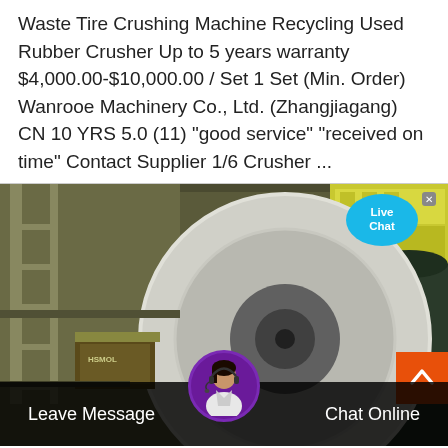Waste Tire Crushing Machine Recycling Used Rubber Crusher Up to 5 years warranty $4,000.00-$10,000.00 / Set 1 Set (Min. Order) Wanrooe Machinery Co., Ltd. (Zhangjiagang) CN 10 YRS 5.0 (11) "good service" "received on time" Contact Supplier 1/6 Crusher ...
[Figure (photo): Industrial tire crushing/recycling machinery - large cylindrical drum with industrial equipment, green crates visible, with a Live Chat bubble overlay, scroll-up button, and a bottom bar showing Leave Message and Chat Online options with a customer service avatar.]